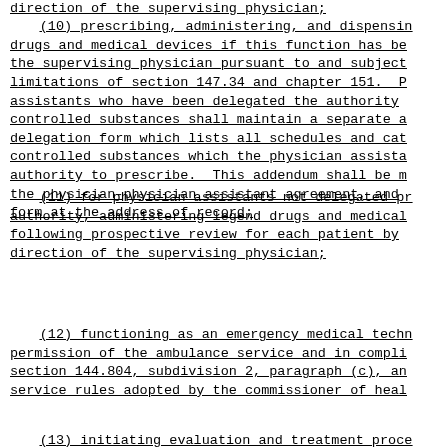direction of the supervising physician;
(10) prescribing, administering, and dispensing drugs and medical devices if this function has been delegated by the supervising physician pursuant to and subject to the limitations of section 147.34 and chapter 151. Physician assistants who have been delegated the authority to prescribe controlled substances shall maintain a separate addendum to the delegation form which lists all schedules and categories of controlled substances which the physician assistant has the authority to prescribe. This addendum shall be made a part of the physician-physician assistant agreement, and kept on form at the address of record;
(11) for physician assistants not delegated prescriptive authority, administering legend drugs and medical devices following prospective review for each patient by written direction of the supervising physician;
(12) functioning as an emergency medical technician with permission of the ambulance service and in compliance with section 144.804, subdivision 2, paragraph (c), and ambulance service rules adopted by the commissioner of health;
(13) initiating evaluation and treatment procedures essential to providing an appropriate response to emergency situations.
Orders of physician assistants shall be considered orders of their supervising physicians in all pra